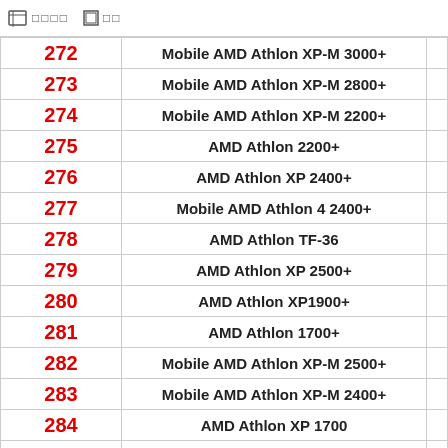🗂 □□□□  □ □□
| # | Name |
| --- | --- |
| 272 | Mobile AMD Athlon XP-M 3000+ |
| 273 | Mobile AMD Athlon XP-M 2800+ |
| 274 | Mobile AMD Athlon XP-M 2200+ |
| 275 | AMD Athlon 2200+ |
| 276 | AMD Athlon XP 2400+ |
| 277 | Mobile AMD Athlon 4 2400+ |
| 278 | AMD Athlon TF-36 |
| 279 | AMD Athlon XP 2500+ |
| 280 | AMD Athlon XP1900+ |
| 281 | AMD Athlon 1700+ |
| 282 | Mobile AMD Athlon XP-M 2500+ |
| 283 | Mobile AMD Athlon XP-M 2400+ |
| 284 | AMD Athlon XP 1700 |
| 285 | Mobile AMD Athlon XP-M 1900+ |